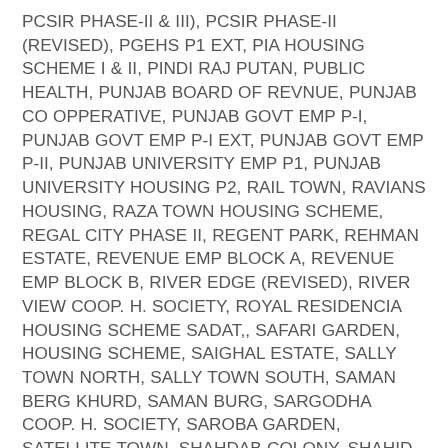PCSIR PHASE-II & III), PCSIR PHASE-II (REVISED), PGEHS P1 EXT, PIA HOUSING SCHEME I & II, PINDI RAJ PUTAN, PUBLIC HEALTH, PUNJAB BOARD OF REVNUE, PUNJAB CO OPPERATIVE, PUNJAB GOVT EMP P-I, PUNJAB GOVT EMP P-I EXT, PUNJAB GOVT EMP P-II, PUNJAB UNIVERSITY EMP P1, PUNJAB UNIVERSITY HOUSING P2, RAIL TOWN, RAVIANS HOUSING, RAZA TOWN HOUSING SCHEME, REGAL CITY PHASE II, REGENT PARK, REHMAN ESTATE, REVENUE EMP BLOCK A, REVENUE EMP BLOCK B, RIVER EDGE (REVISED), RIVER VIEW COOP. H. SOCIETY, ROYAL RESIDENCIA HOUSING SCHEME SADAT,, SAFARI GARDEN, HOUSING SCHEME, SAIGHAL ESTATE, SALLY TOWN NORTH, SALLY TOWN SOUTH, SAMAN BERG KHURD, SAMAN BURG, SARGODHA COOP. H. SOCIETY, SAROBA GARDEN, SATELLITE TOWN, SHAHDAB COLONY, SHAHID TOWN, SHERAZ HOUSING SCHEME, STATE ENTER PRISERS, STATE ENTERPRISES COOP.HS PH-I, STATE ENTERPRISES COOP.HS PH-II, SUI NORTHEN OFFICERS PHASE II, SUI NORTHERN GAS ECHS PHASE I, SUKH CHAIN GARDEN, SUN FLOWER (REVISED), SUNNY PARK, SUNNY PARK